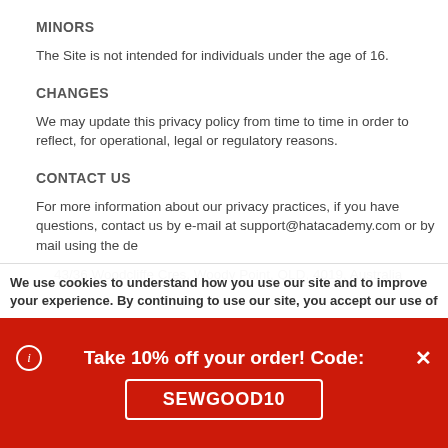MINORS
The Site is not intended for individuals under the age of 16.
CHANGES
We may update this privacy policy from time to time in order to reflect, for operational, legal or regulatory reasons.
CONTACT US
For more information about our privacy practices, if you have questions, contact us by e-mail at support@hatacademy.com or by mail using the de
43/36 Woodcliffe Cres, Woody Point, QLD, 4019, Australia
We use cookies to understand how you use our site and to improve your experience. By continuing to use our site, you accept our use of
Take 10% off your order! Code:
SEWGOOD10